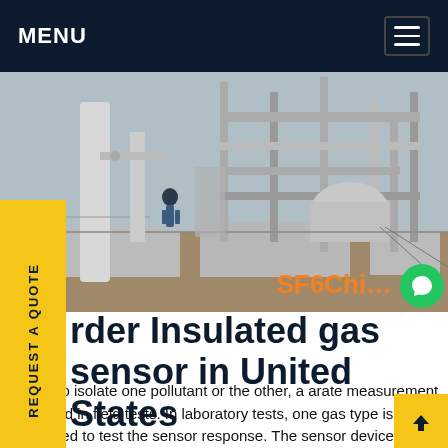MENU
[Figure (photo): Industrial gas facility with pipes, scaffolding and workers in the background. SF6China watermark visible in the bottom right.]
der Insulated gas ensor in United States
6/2021To isolate one pollutant or the other, a arate measurement is needed in field tests. In laboratory tests, one gas type is introduced to test the sensor response. The sensor device is minia and designed for either portable use or stationary